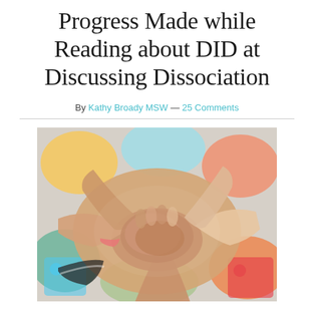Progress Made while Reading about DID at Discussing Dissociation
By Kathy Broady MSW — 25 Comments
[Figure (photo): Multiple hands of different people stacked together in a circle, symbolizing teamwork or unity, with colorful blurry puzzle pieces or toys in the background.]